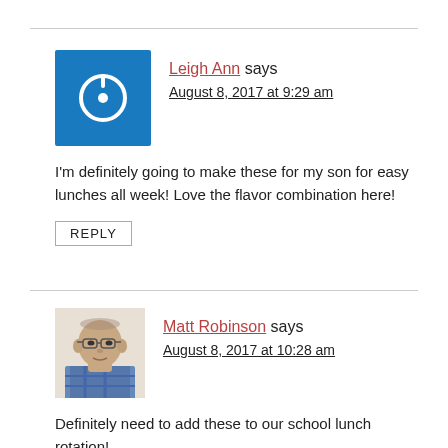Leigh Ann says
August 8, 2017 at 9:29 am
I'm definitely going to make these for my son for easy lunches all week! Love the flavor combination here!
REPLY
Matt Robinson says
August 8, 2017 at 10:28 am
Definitely need to add these to our school lunch rotation!